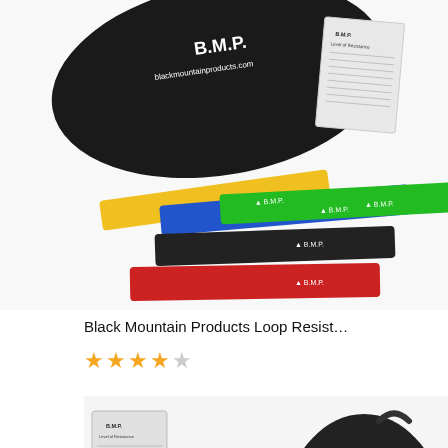[Figure (photo): Photo of Black Mountain Products Loop Resistance Bands set showing yellow, blue, green, black, and red loop bands spread out, with a black carrying bag and a Level of Resistance reference card on a white background.]
Black Mountain Products Loop Resist…
[Figure (other): Star rating showing 4 out of 5 stars (4 filled gold stars and 1 empty/grey star).]
[Figure (photo): Close-up photo of Black Mountain Products resistance bands set showing yellow flat resistance bands folded, a black carrying bag with BMP logo, and a Level of Resistance reference card on white background.]